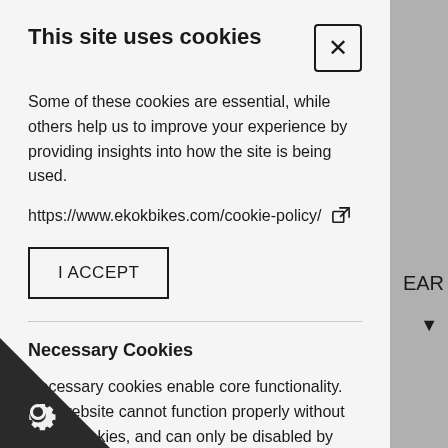This site uses cookies
Some of these cookies are essential, while others help us to improve your experience by providing insights into how the site is being used.
https://www.ekokbikes.com/cookie-policy/
I ACCEPT
Necessary Cookies
Necessary cookies enable core functionality. The website cannot function properly without these cookies, and can only be disabled by changing your browser preferences.